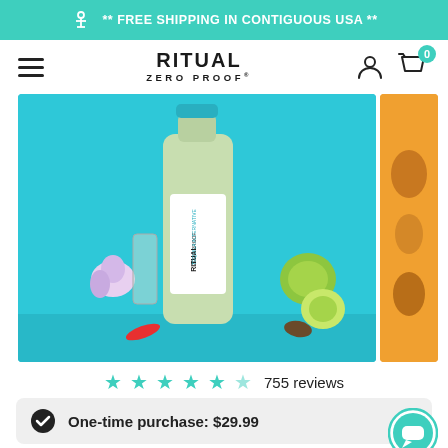** FREE SHIPPING IN CONTIGUOUS USA **
[Figure (logo): Ritual Zero Proof logo with hamburger menu, user icon, and cart icon showing 0 items]
[Figure (photo): Ritual Zero Proof Tequila Alternative bottle on teal background with limes, orchid, chili pepper, and agave]
755 reviews
One-time purchase: $29.99